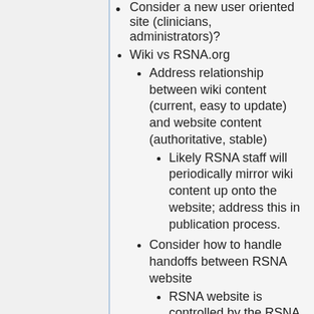Consider a new user oriented site (clinicians, administrators)?
Wiki vs RSNA.org
Address relationship between wiki content (current, easy to update) and website content (authoritative, stable)
Likely RSNA staff will periodically mirror wiki content up onto the website; address this in publication process.
Consider how to handle handoffs between RSNA website
RSNA website is controlled by the RSNA Marketing Department, must meet certain style requirements, and require resources beyond QIBA staff
QIBA would still like to find a